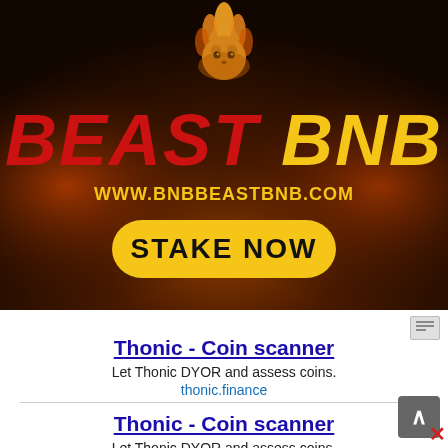[Figure (illustration): Beast BNB advertisement banner with dark fiery background, lion icon, red and yellow 'BEAST BNB' text, URL 'WWW.BNBBEASTBNB.COM', and yellow 'STAKE NOW' rounded button]
Thonic - Coin scanner
Let Thonic DYOR and assess coins.
thonic.finance
Thonic - Coin scanner
Let Thonic DYOR and assess coins.
thonic.finance
ZERO GAS FEE